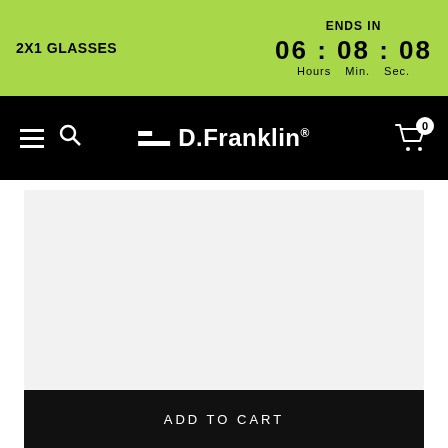2X1 GLASSES — ENDS IN 06 : 08 : 08 Hours Min. Sec.
D.Franklin® navigation with hamburger, search, logo, and cart (0)
[Figure (photo): Light gray product image placeholder area for glasses]
ADD TO CART
[Figure (photo): Bottom strip showing tortoiseshell and beige glasses frames]